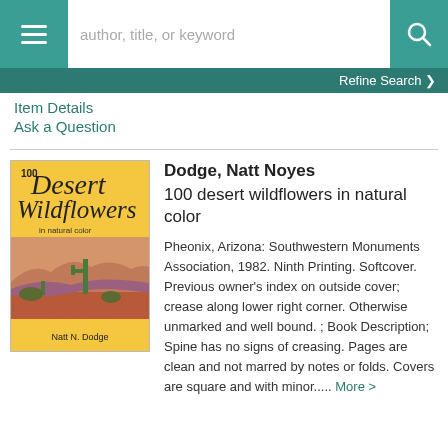[Figure (screenshot): Website navigation bar with hamburger menu, search input placeholder 'author, title, or keyword', and teal search button with magnifying glass icon]
Refine Search ❯
Item Details
Ask a Question
[Figure (illustration): Book cover for '100 Desert Wildflowers in Natural Color' by Natt N. Dodge, yellow cover with desert landscape illustration]
Dodge, Natt Noyes
100 desert wildflowers in natural color
Pheonix, Arizona: Southwestern Monuments Association, 1982. Ninth Printing. Softcover. Previous owner's index on outside cover; crease along lower right corner. Otherwise unmarked and well bound. ; Book Description; Spine has no signs of creasing. Pages are clean and not marred by notes or folds. Covers are square and with minor..... More >